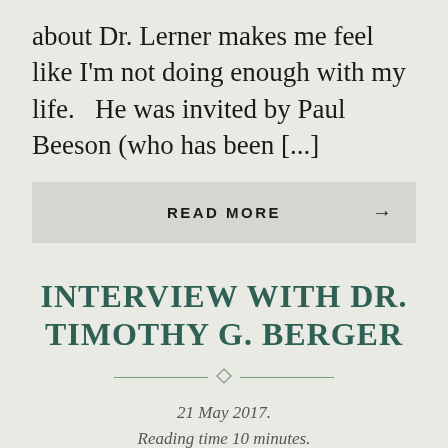about Dr. Lerner makes me feel like I'm not doing enough with my life.   He was invited by Paul Beeson (who has been [...]
READ MORE →
INTERVIEW WITH DR. TIMOTHY G. BERGER
21 May 2017.
Reading time 10 minutes.
[Figure (photo): Bottom portion of a green/olive toned background image, likely showing a person or outdoor scene, partially visible.]